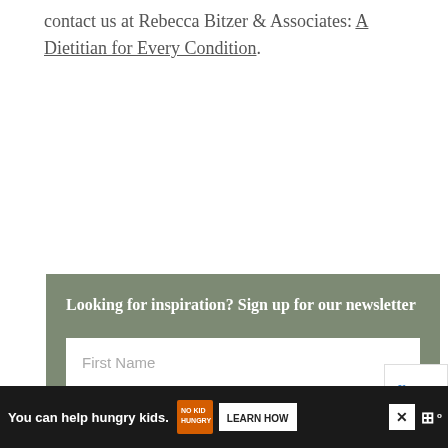contact us at Rebecca Bitzer & Associates: A Dietitian for Every Condition.
Looking for inspiration? Sign up for our newsletter
First Name
[Figure (infographic): Advertisement bar: 'You can help hungry kids.' with No Kid Hungry logo and 'LEARN MORE' button on dark background, with close button]
[Figure (other): reCAPTCHA badge partially visible at right edge]